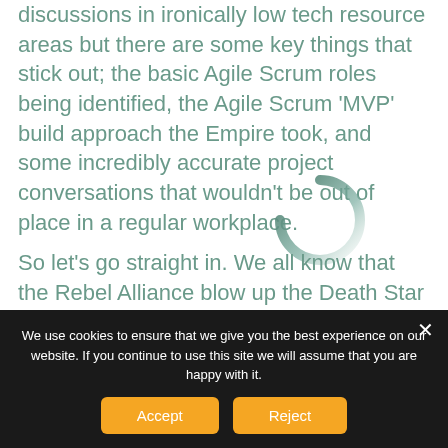discussions in ironically low tech resource areas but there are some key things that stick out; the basic Agile Scrum roles being identified, the Agile Scrum 'MVP' build approach the Empire took, and some incredibly accurate project conversations that wouldn't be out of place in a regular workplace.
[Figure (other): A circular spinner/loading indicator rendered in dark teal/green gradient]
So let's go straight in. We all know that the Rebel Alliance blow up the Death Star in the end as they find a flaw – a poorly
We use cookies to ensure that we give you the best experience on our website. If you continue to use this site we will assume that you are happy with it.